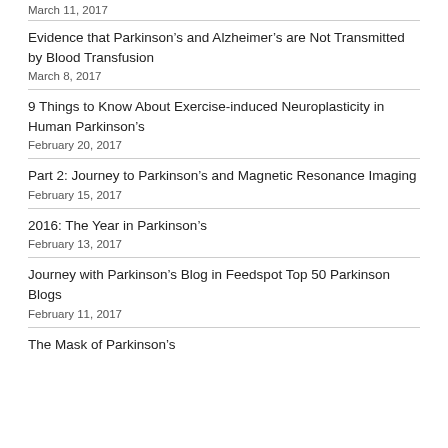March 11, 2017
Evidence that Parkinson’s and Alzheimer’s are Not Transmitted by Blood Transfusion
March 8, 2017
9 Things to Know About Exercise-induced Neuroplasticity in Human Parkinson’s
February 20, 2017
Part 2: Journey to Parkinson’s and Magnetic Resonance Imaging
February 15, 2017
2016: The Year in Parkinson’s
February 13, 2017
Journey with Parkinson’s Blog in Feedspot Top 50 Parkinson Blogs
February 11, 2017
The Mask of Parkinson’s